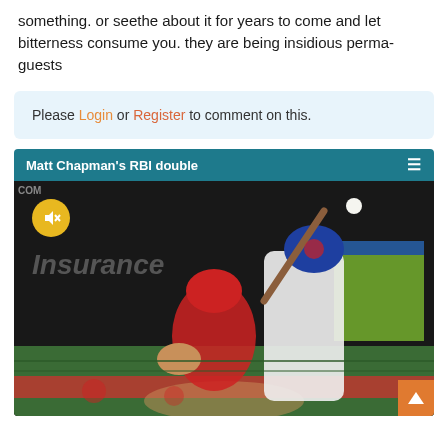something. or seethe about it for years to come and let bitterness consume you. they are being insidious perma-guests
Please Login or Register to comment on this.
[Figure (screenshot): Video player showing Matt Chapman's RBI double — a baseball player in a Toronto Blue Jays uniform swinging a bat, with a catcher in red behind home plate. An 'Insurance' advertisement is visible. A muted audio icon is displayed in the top-left corner.]